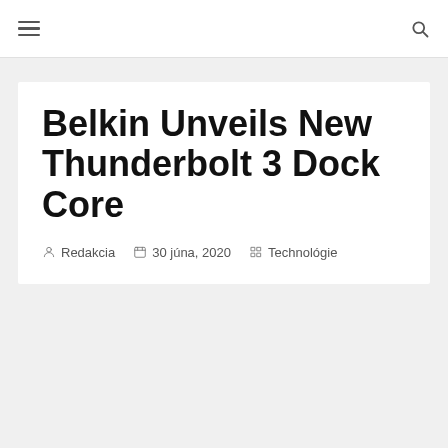≡  🔍
Belkin Unveils New Thunderbolt 3 Dock Core
Redakcia  30 júna, 2020  Technológie